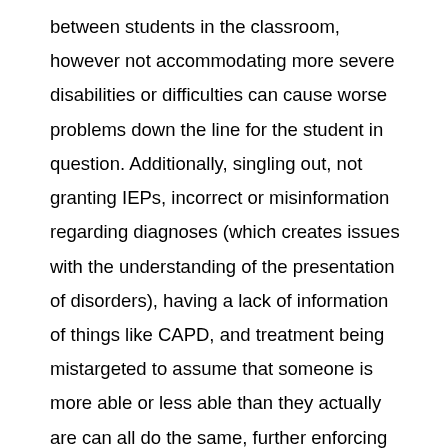between students in the classroom, however not accommodating more severe disabilities or difficulties can cause worse problems down the line for the student in question. Additionally, singling out, not granting IEPs, incorrect or misinformation regarding diagnoses (which creates issues with the understanding of the presentation of disorders), having a lack of information of things like CAPD, and treatment being mistargeted to assume that someone is more able or less able than they actually are can all do the same, further enforcing the power hierarchy of special education.
Within schools, some special education teachers